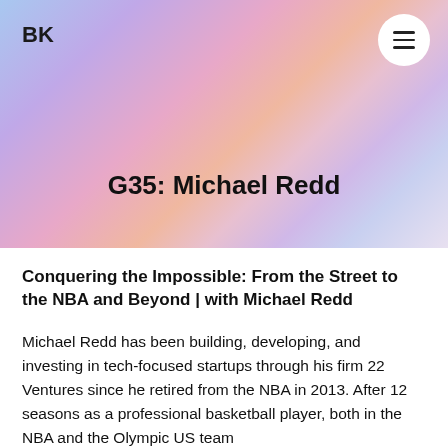BK
G35: Michael Redd
Conquering the Impossible: From the Street to the NBA and Beyond | with Michael Redd
Michael Redd has been building, developing, and investing in tech-focused startups through his firm 22 Ventures since he retired from the NBA in 2013. After 12 seasons as a professional basketball player, both in the NBA and the Olympic US team